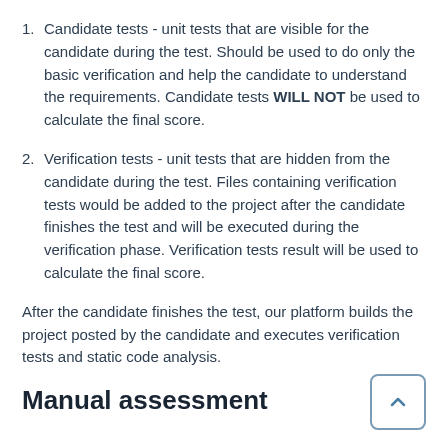Candidate tests - unit tests that are visible for the candidate during the test. Should be used to do only the basic verification and help the candidate to understand the requirements. Candidate tests WILL NOT be used to calculate the final score.
Verification tests - unit tests that are hidden from the candidate during the test. Files containing verification tests would be added to the project after the candidate finishes the test and will be executed during the verification phase. Verification tests result will be used to calculate the final score.
After the candidate finishes the test, our platform builds the project posted by the candidate and executes verification tests and static code analysis.
Manual assessment